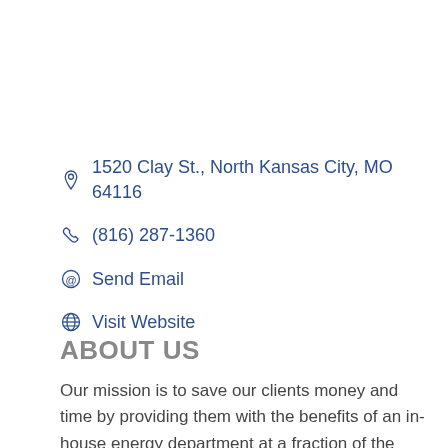1520 Clay St., North Kansas City, MO 64116
(816) 287-1360
Send Email
Visit Website
ABOUT US
Our mission is to save our clients money and time by providing them with the benefits of an in-house energy department at a fraction of the